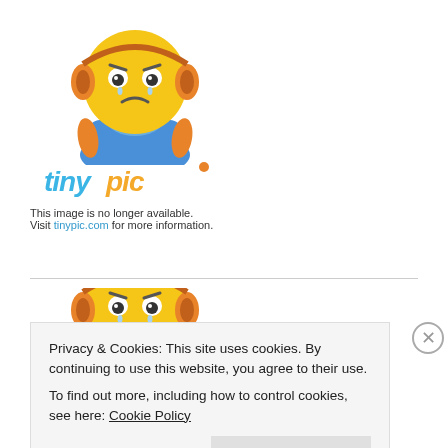[Figure (illustration): TinyPic mascot - sad yellow emoji face with orange headphones and blue body, with 'tinypic' logo below. Caption: 'This image is no longer available. Visit tinypic.com for more information.']
[Figure (illustration): TinyPic mascot - same sad yellow emoji face with orange headphones and blue body, with 'tinypic' logo below. Caption: 'This image is no longer available. Visit tinypic.com for more information.' (partially visible)]
Privacy & Cookies: This site uses cookies. By continuing to use this website, you agree to their use.
To find out more, including how to control cookies, see here: Cookie Policy